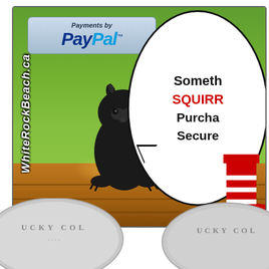[Figure (illustration): Promotional image showing a black squirrel sitting on a wooden bench/table against a green grass background. Top left has a PayPal payments badge. Left side has vertical text reading WhiteRockBeach.ca. A speech bubble (partially cut off at right) shows text: Something SQUIRR... Purcha... Secure... At far right, partially visible figure wearing a red hat. Bottom shows partial coins with text LUCKY COL...]
Payments by PayPal
WhiteRockBeach.ca
Someth... SQUIRR... Purcha... Secure...